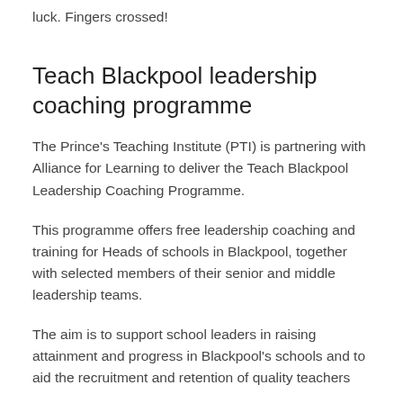luck. Fingers crossed!
Teach Blackpool leadership coaching programme
The Prince's Teaching Institute (PTI) is partnering with Alliance for Learning to deliver the Teach Blackpool Leadership Coaching Programme.
This programme offers free leadership coaching and training for Heads of schools in Blackpool, together with selected members of their senior and middle leadership teams.
The aim is to support school leaders in raising attainment and progress in Blackpool's schools and to aid the recruitment and retention of quality teachers